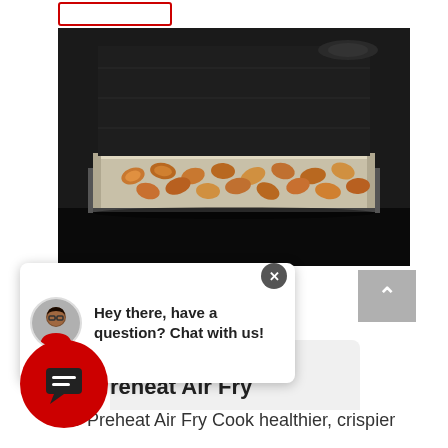[Figure (photo): Oven interior showing a baking tray with crispy shrimp/seafood items arranged on a rack inside a dark oven]
[Figure (screenshot): Chat popup overlay with avatar of a person and text: Hey there, have a question? Chat with us! with a close X button]
[Figure (logo): Red circular chat icon button with a message/chat symbol in the center]
[Figure (screenshot): Grey scroll-to-top button with an upward arrow]
reheat Air Fry
No-Preheat Air Fry Cook healthier, crispier